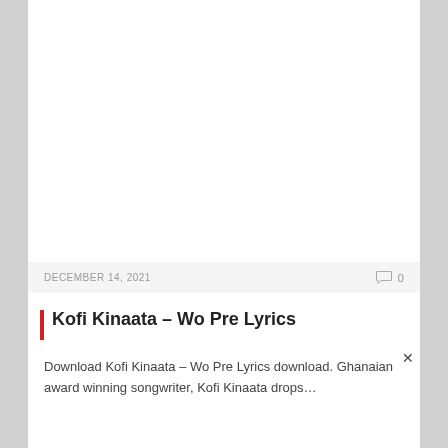DECEMBER 14, 2021   0
Kofi Kinaata – Wo Pre Lyrics
Download Kofi Kinaata – Wo Pre Lyrics download. Ghanaian award winning songwriter, Kofi Kinaata drops…